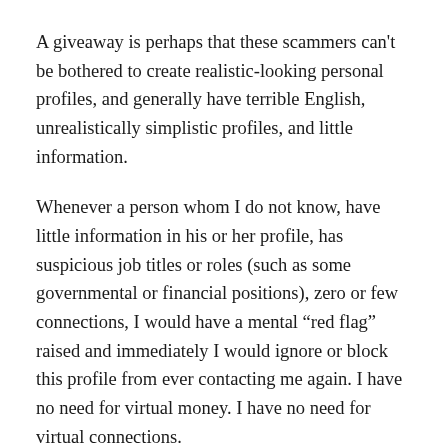A giveaway is perhaps that these scammers can't be bothered to create realistic-looking personal profiles, and generally have terrible English, unrealistically simplistic profiles, and little information.
Whenever a person whom I do not know, have little information in his or her profile, has suspicious job titles or roles (such as some governmental or financial positions), zero or few connections, I would have a mental “red flag” raised and immediately I would ignore or block this profile from ever contacting me again. I have no need for virtual money. I have no need for virtual connections.
These days, if we receive an email from a suspicious